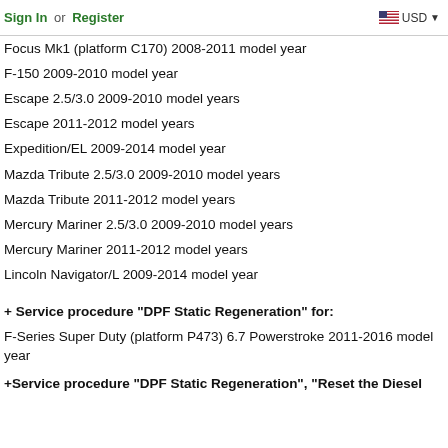Sign In or Register   USD
Focus Mk1 (platform C170) 2008-2011 model year
F-150 2009-2010 model year
Escape 2.5/3.0 2009-2010 model years
Escape 2011-2012 model years
Expedition/EL 2009-2014 model year
Mazda Tribute 2.5/3.0 2009-2010 model years
Mazda Tribute 2011-2012 model years
Mercury Mariner 2.5/3.0 2009-2010 model years
Mercury Mariner 2011-2012 model years
Lincoln Navigator/L 2009-2014 model year
+ Service procedure "DPF Static Regeneration" for:
F-Series Super Duty (platform P473) 6.7 Powerstroke 2011-2016 model year
+Service procedure "DPF Static Regeneration", "Reset the Diesel